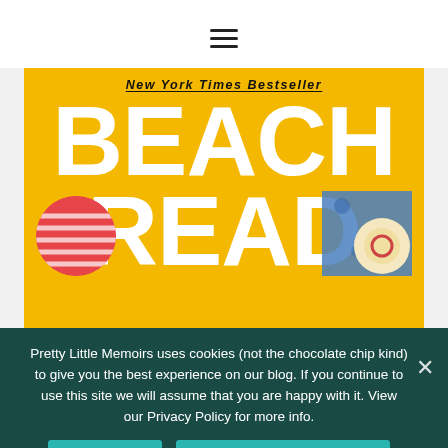[Figure (illustration): Hamburger menu icon with three horizontal lines]
[Figure (illustration): Book cover for 'Beach Read' by Emily Henry, showing 'New York Times Bestseller' at top on yellow background, with large white text 'BEACH READ', a striped red and white ball, blue floral pattern, and a sun hat with red circle]
Pretty Little Memoirs uses cookies (not the chocolate chip kind) to give you the best experience on our blog. If you continue to use this site we will assume that you are happy with it. View our Privacy Policy for more info.
I'm happy!
Continue with limited view